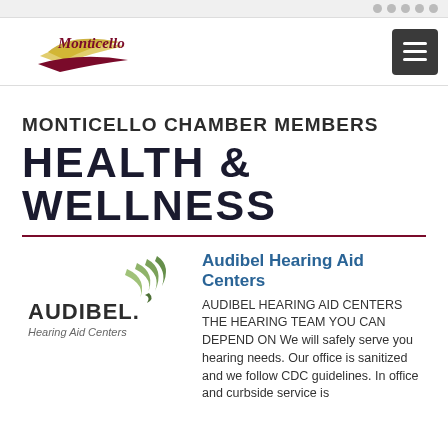Monticello [logo] [hamburger menu]
MONTICELLO CHAMBER MEMBERS
HEALTH & WELLNESS
[Figure (logo): Audibel Hearing Aid Centers logo with green swoosh marks above the AUDIBEL wordmark]
Audibel Hearing Aid Centers
AUDIBEL HEARING AID CENTERS THE HEARING TEAM YOU CAN DEPEND ON We will safely serve you hearing needs. Our office is sanitized and we follow CDC guidelines. In office and curbside service is